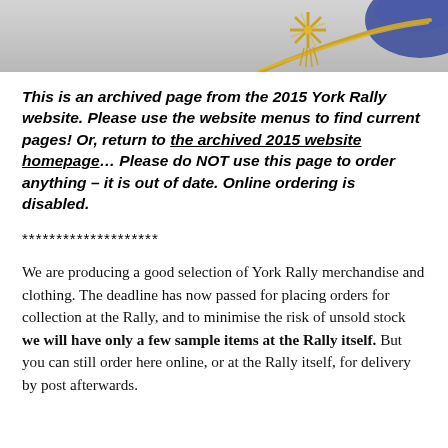[Figure (photo): Top banner photo showing gold tassel/decoration and blue fabric against a light grey background]
This is an archived page from the 2015 York Rally website. Please use the website menus to find current pages! Or, return to the archived 2015 website homepage… Please do NOT use this page to order anything – it is out of date. Online ordering is disabled.
********************
We are producing a good selection of York Rally merchandise and clothing. The deadline has now passed for placing orders for collection at the Rally, and to minimise the risk of unsold stock we will have only a few sample items at the Rally itself. But you can still order here online, or at the Rally itself, for delivery by post afterwards.